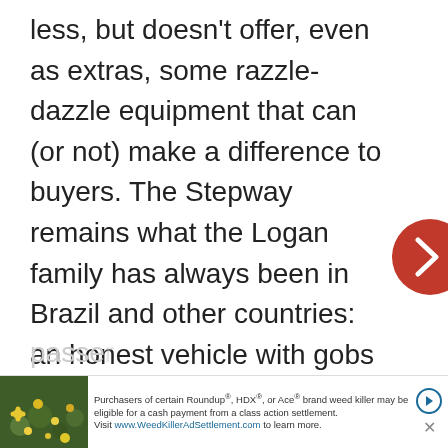less, but doesn't offer, even as extras, some razzle-dazzle equipment that can (or not) make a difference to buyers. The Stepway remains what the Logan family has always been in Brazil and other countries: an honest vehicle with gobs of space; a simple vehicle and project that does not ask the buyer to make too many sacrifices in terms of overall quality while delivering a modern ride and space. Did I mention space? The trunk is very big for a vehicle this size and holds as much luggage as hatches a size-segment up. It can also sit 4 comfortably and due to it width, a fifth passe... y
[Figure (other): Advertisement banner: photo of yellow wildflowers on dark background, with text about Roundup/HDX/Ace brand weed killer class action settlement, linking to www.WeedKillerAdSettlement.com]